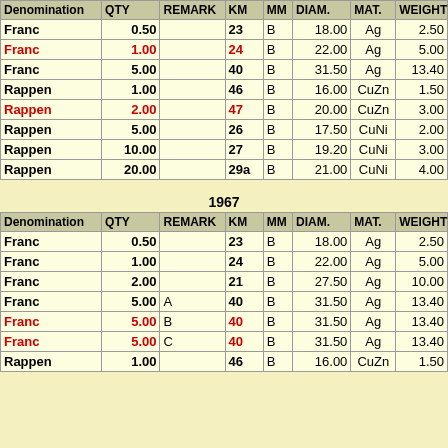| Denomination | QTY | REMARK | KM | MM | DIAM. | MAT. | WEIGHT |
| --- | --- | --- | --- | --- | --- | --- | --- |
| Franc | 0.50 |  | 23 | B | 18.00 | Ag | 2.50 |
| Franc | 1.00 |  | 24 | B | 22.00 | Ag | 5.00 |
| Franc | 5.00 |  | 40 | B | 31.50 | Ag | 13.40 |
| Rappen | 1.00 |  | 46 | B | 16.00 | CuZn | 1.50 |
| Rappen | 2.00 |  | 47 | B | 20.00 | CuZn | 3.00 |
| Rappen | 5.00 |  | 26 | B | 17.50 | CuNi | 2.00 |
| Rappen | 10.00 |  | 27 | B | 19.20 | CuNi | 3.00 |
| Rappen | 20.00 |  | 29a | B | 21.00 | CuNi | 4.00 |
1967
| Denomination | QTY | REMARK | KM | MM | DIAM. | MAT. | WEIGHT |
| --- | --- | --- | --- | --- | --- | --- | --- |
| Franc | 0.50 |  | 23 | B | 18.00 | Ag | 2.50 |
| Franc | 1.00 |  | 24 | B | 22.00 | Ag | 5.00 |
| Franc | 2.00 |  | 21 | B | 27.50 | Ag | 10.00 |
| Franc | 5.00 | A | 40 | B | 31.50 | Ag | 13.40 |
| Franc | 5.00 | B | 40 | B | 31.50 | Ag | 13.40 |
| Franc | 5.00 | C | 40 | B | 31.50 | Ag | 13.40 |
| Rappen | 1.00 |  | 46 | B | 16.00 | CuZn | 1.50 |